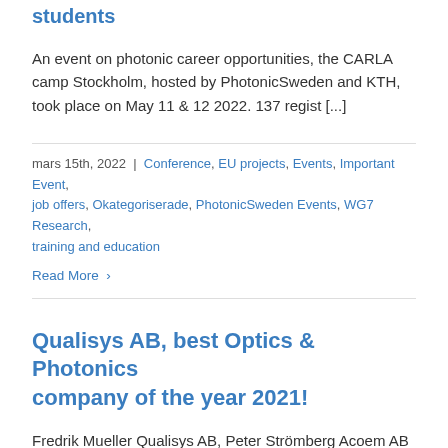students
An event on photonic career opportunities, the CARLA camp Stockholm, hosted by PhotonicSweden and KTH,  took place on May 11 & 12 2022. 137 regist [...]
mars 15th, 2022  |  Conference, EU projects, Events, Important Event, job offers, Okategoriserade, PhotonicSweden Events, WG7 Research, training and education
Read More ›
Qualisys AB, best Optics & Photonics company of the year 2021!
Fredrik Mueller Qualisys AB, Peter Strömberg Acoem AB and PhotonicSweden board Motivation: Qualisys AB is a leading provider of precision motion cap [...]